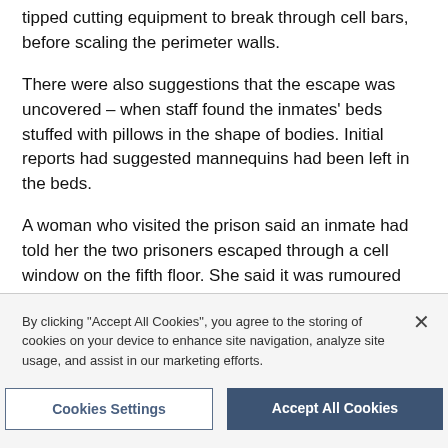tipped cutting equipment to break through cell bars, before scaling the perimeter walls.
There were also suggestions that the escape was uncovered – when staff found the inmates' beds stuffed with pillows in the shape of bodies. Initial reports had suggested mannequins had been left in the beds.
A woman who visited the prison said an inmate had told her the two prisoners escaped through a cell window on the fifth floor. She said it was rumoured that they used bed sheets to lower themselves down.
By clicking "Accept All Cookies", you agree to the storing of cookies on your device to enhance site navigation, analyze site usage, and assist in our marketing efforts.